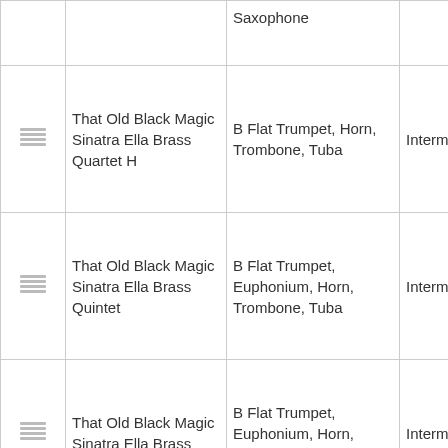|  | Title | Instruments | Level |
| --- | --- | --- | --- |
| [icon] | Saxophone |  |  |
| [icon] | That Old Black Magic Sinatra Ella Brass Quartet H | B Flat Trumpet, Horn, Trombone, Tuba | Intermed... |
| [icon] | That Old Black Magic Sinatra Ella Brass Quintet | B Flat Trumpet, Euphonium, Horn, Trombone, Tuba | Intermed... |
| [icon] | That Old Black Magic Sinatra Ella Brass | B Flat Trumpet, Euphonium, Horn, Trombone, Tuba | Intermed... |